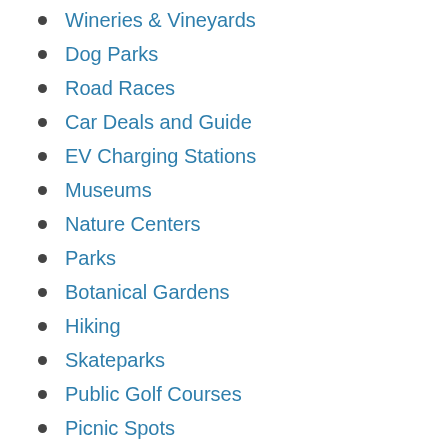Wineries & Vineyards
Dog Parks
Road Races
Car Deals and Guide
EV Charging Stations
Museums
Nature Centers
Parks
Botanical Gardens
Hiking
Skateparks
Public Golf Courses
Picnic Spots
Mini Golf